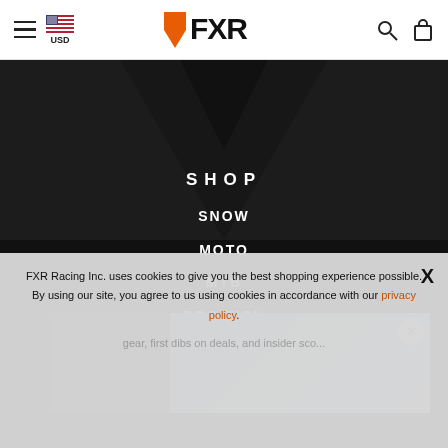FXR — USD — Search — Cart
SHOP
SNOW
MOTO
MTB
PRO FISH
[Figure (screenshot): Partial ad popup showing a person in outdoor gear with a close (X) button]
LET US KEEP YOU
FXR Racing Inc. uses cookies to give you the best shopping experience possible. By using our site, you agree to us using cookies in accordance with our privacy policy.
gear, first dibs on deals, and insider sco...